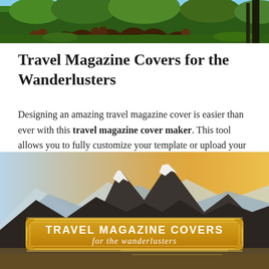[Figure (photo): Top banner photo of a forest floor with fallen tree roots, green grass, and sky in background]
Travel Magazine Covers for the Wanderlusters
Designing an amazing travel magazine cover is easier than ever with this travel magazine cover maker. This tool allows you to fully customize your template or upload your own images and graphics. Try it out today!
[Figure (photo): Mountain landscape photo with snow-capped peaks, warm golden sunset light, and a decorative golden badge overlay reading 'TRAVEL MAGAZINE COVERS for the wanderlusters']